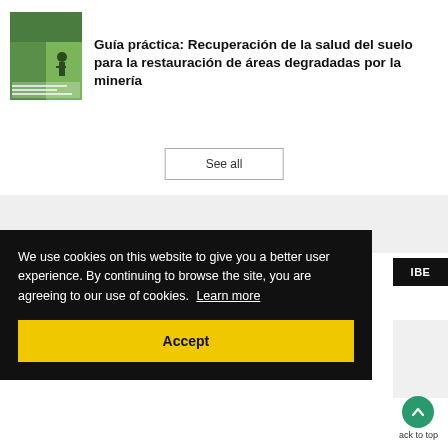[Figure (illustration): Book cover thumbnail showing green and yellow colors with an agricultural/environmental scene and a person.]
Guía práctica: Recuperación de la salud del suelo para la restauración de áreas degradadas por la minería
See all
We use cookies on this website to give you a better user experience. By continuing to browse the site, you are agreeing to our use of cookies.  Learn more
Accept
IBE
ack to top